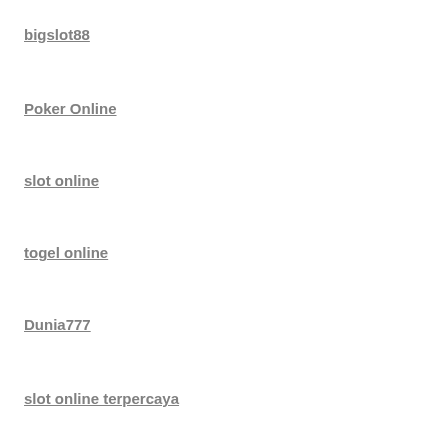bigslot88
Poker Online
slot online
togel online
Dunia777
slot online terpercaya